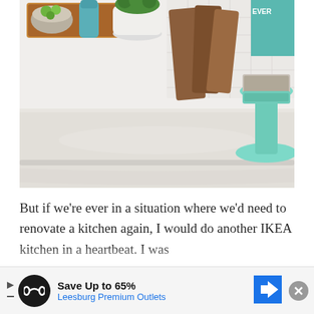[Figure (photo): Kitchen countertop scene with wooden cutting boards, a white pot with green plant, a metal bowl with limes, a teal/mint cake stand, teal folded cloth, a hexagonal tile backsplash, and various kitchen items on a light marble-look countertop.]
But if we're ever in a situation where we'd need to renovate a kitchen again, I would do another IKEA kitchen in a heartbeat. I was just ... and
[Figure (infographic): Advertisement banner: 'Save Up to 65% Leesburg Premium Outlets' with infinity logo, play button, navigation arrow icon, and close (X) button.]